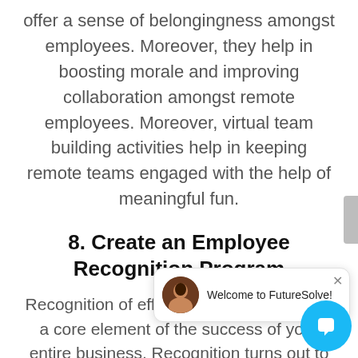offer a sense of belongingness amongst employees. Moreover, they help in boosting morale and improving collaboration amongst remote employees. Moreover, virtual team building activities help in keeping remote teams engaged with the help of meaningful fun.
8. Create an Employee Recognition Program
Recognition of efforts of the employees is a core element of the success of your entire business. Recognition turns out to be one of the most effective strategies for making employees feel engaged